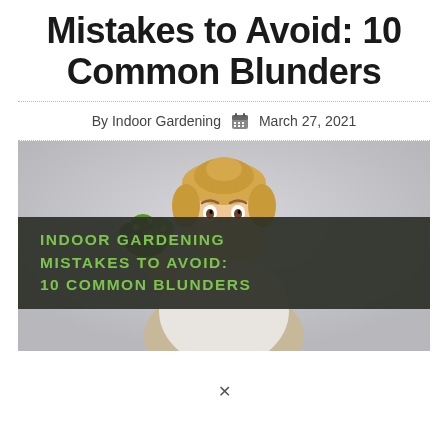Mistakes to Avoid: 10 Common Blunders
By Indoor Gardening   March 27, 2021
[Figure (photo): Woman with surprised expression holding green plants, with dark overlay banner reading 'INDOOR GARDENING MISTAKES TO AVOID: 10 COMMON BLUNDERS' in green uppercase text]